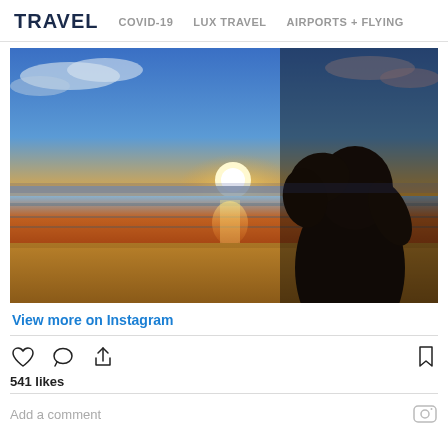TRAVEL  COVID-19  LUX TRAVEL  AIRPORTS + FLYING
[Figure (photo): Woman silhouetted on a beach at sunset with vibrant orange, yellow, and blue sky and ocean waves reflecting the sunset light. The woman is smiling and touching her hair.]
View more on Instagram
541 likes
Add a comment